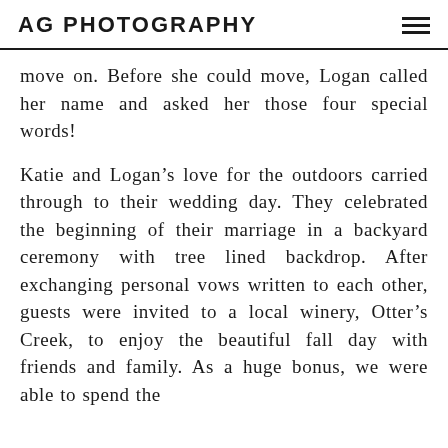AG PHOTOGRAPHY
move on. Before she could move, Logan called her name and asked her those four special words!
Katie and Logan’s love for the outdoors carried through to their wedding day. They celebrated the beginning of their marriage in a backyard ceremony with tree lined backdrop. After exchanging personal vows written to each other, guests were invited to a local winery, Otter’s Creek, to enjoy the beautiful fall day with friends and family. As a huge bonus, we were able to spend the